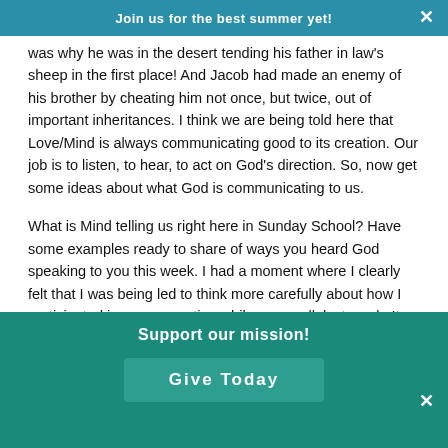Join us for the best summer yet!
was why he was in the desert tending his father in law's sheep in the first place! And Jacob had made an enemy of his brother by cheating him not once, but twice, out of important inheritances. I think we are being told here that Love/Mind is always communicating good to its creation. Our job is to listen, to hear, to act on God's direction. So, now get some ideas about what God is communicating to us.

What is Mind telling us right here in Sunday School? Have some examples ready to share of ways you heard God speaking to you this week. I had a moment where I clearly felt that I was being led to think more carefully about how I participated in a conversation while on a walk last week. It wasn't a significant conversation, I just felt impelled to check my tongue, to think about what I could add in a positive vein, or not say at all, and be a present listener. It wasn't a big thing
Support our mission!
Give Today